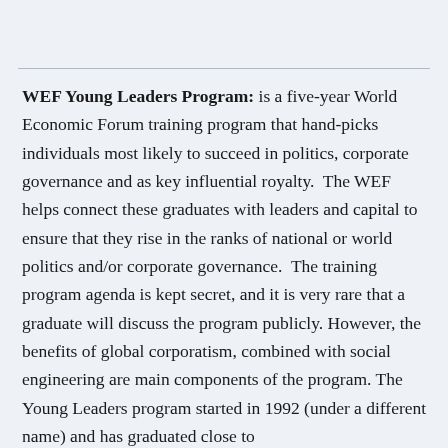WEF Young Leaders Program: is a five-year World Economic Forum training program that hand-picks individuals most likely to succeed in politics, corporate governance and as key influential royalty.  The WEF helps connect these graduates with leaders and capital to ensure that they rise in the ranks of national or world politics and/or corporate governance.  The training program agenda is kept secret, and it is very rare that a graduate will discuss the program publicly. However, the benefits of global corporatism, combined with social engineering are main components of the program. The Young Leaders program started in 1992 (under a different name) and has graduated close to